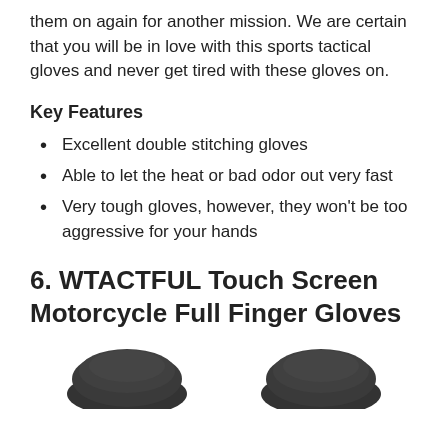them on again for another mission. We are certain that you will be in love with this sports tactical gloves and never get tired with these gloves on.
Key Features
Excellent double stitching gloves
Able to let the heat or bad odor out very fast
Very tough gloves, however, they won't be too aggressive for your hands
6. WTACTFUL Touch Screen Motorcycle Full Finger Gloves
[Figure (photo): Partial view of two dark motorcycle gloves at the bottom of the page]